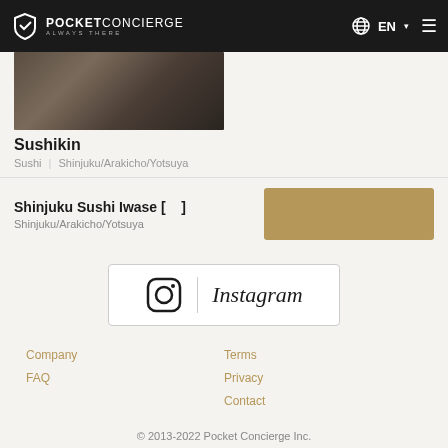POCKET CONCIERGE ALWAYS THERE | EN
[Figure (photo): Restaurant interior photo showing table setting, partially cropped]
Sushikin
Sushi  |  Shinjuku/Arakicho/Yotsuya
Shinjuku Sushi Iwase [  ]
Shinjuku/Arakicho/Yotsuya
[Figure (other): Gold/tan colored button or image placeholder]
[Figure (logo): Instagram logo with icon and wordmark]
Company
FAQ
Terms
Privacy
Contact
© 2013-2022 Pocket Concierge Inc.